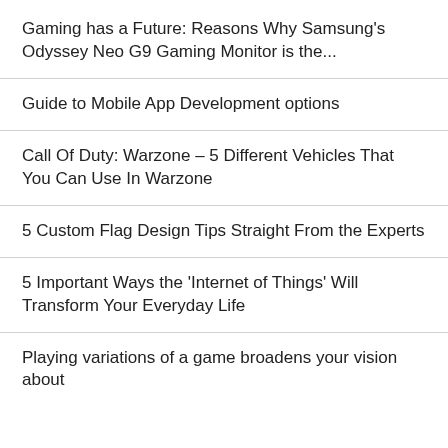Gaming has a Future: Reasons Why Samsung’s Odyssey Neo G9 Gaming Monitor is the...
Guide to Mobile App Development options
Call Of Duty: Warzone – 5 Different Vehicles That You Can Use In Warzone
5 Custom Flag Design Tips Straight From the Experts
5 Important Ways the ‘Internet of Things’ Will Transform Your Everyday Life
Playing variations of a game broadens your vision about